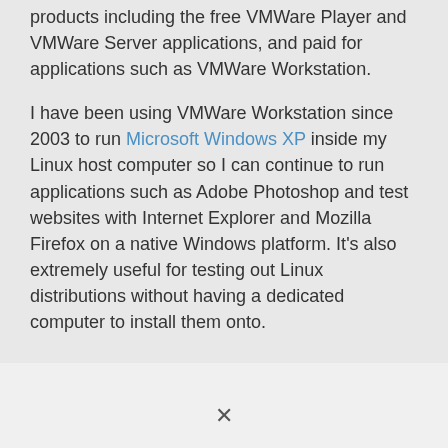products including the free VMWare Player and VMWare Server applications, and paid for applications such as VMWare Workstation.
I have been using VMWare Workstation since 2003 to run Microsoft Windows XP inside my Linux host computer so I can continue to run applications such as Adobe Photoshop and test websites with Internet Explorer and Mozilla Firefox on a native Windows platform. It’s also extremely useful for testing out Linux distributions without having a dedicated computer to install them onto.